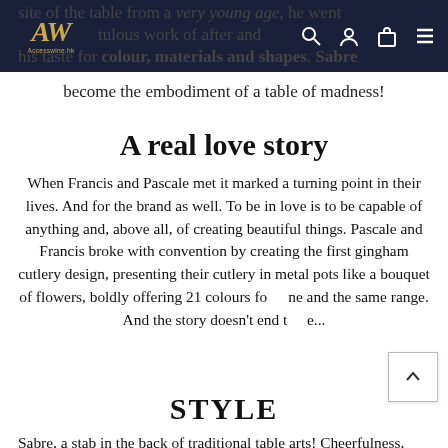AW Accesswine.hk — navigation bar with logo, search, account, cart, menu icons
…site of the table from a very young age, he went meticuluous work of after and his taste for colour, materials and shapes. Sabre become the embodiment of a table of madness!
A real love story
When Francis and Pascale met it marked a turning point in their lives. And for the brand as well. To be in love is to be capable of anything and, above all, of creating beautiful things. Pascale and Francis broke with convention by creating the first gingham cutlery design, presenting their cutlery in metal pots like a bouquet of flowers, boldly offering 21 colours for the and the same range. And the story doesn't end there...
STYLE
Sabre, a stab in the back of traditional table arts! Cheerfulness, fantasy and a dash of audacity are invited to all your meals.